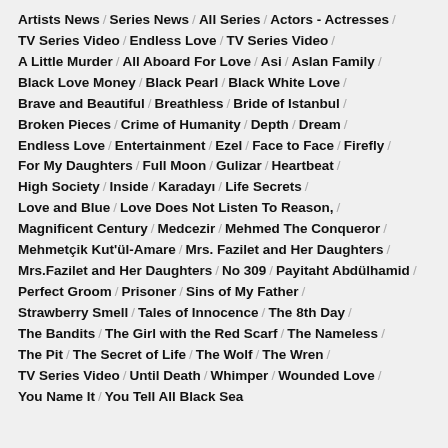Artists News / Series News / All Series / Actors - Actresses /
TV Series Video / Endless Love / TV Series Video /
A Little Murder / All Aboard For Love / Asi / Aslan Family /
Black Love Money / Black Pearl / Black White Love /
Brave and Beautiful / Breathless / Bride of Istanbul /
Broken Pieces / Crime of Humanity / Depth / Dream /
Endless Love / Entertainment / Ezel / Face to Face / Firefly /
For My Daughters / Full Moon / Gulizar / Heartbeat /
High Society / Inside / Karadayı / Life Secrets /
Love and Blue / Love Does Not Listen To Reason, /
Magnificent Century / Medcezir / Mehmed The Conqueror /
Mehmetçik Kut'ül-Amare / Mrs. Fazilet and Her Daughters /
Mrs.Fazilet and Her Daughters / No 309 / Payitaht Abdülhamid /
Perfect Groom / Prisoner / Sins of My Father /
Strawberry Smell / Tales of Innocence / The 8th Day /
The Bandits / The Girl with the Red Scarf / The Nameless /
The Pit / The Secret of Life / The Wolf / The Wren /
TV Series Video / Until Death / Whimper / Wounded Love /
You Name It / You Tell All Black Sea